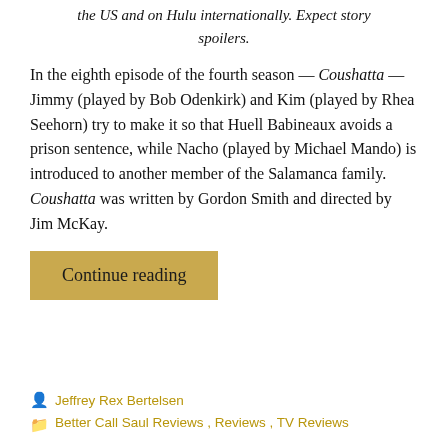the US and on Hulu internationally. Expect story spoilers.
In the eighth episode of the fourth season — Coushatta — Jimmy (played by Bob Odenkirk) and Kim (played by Rhea Seehorn) try to make it so that Huell Babineaux avoids a prison sentence, while Nacho (played by Michael Mando) is introduced to another member of the Salamanca family. Coushatta was written by Gordon Smith and directed by Jim McKay.
Continue reading
Jeffrey Rex Bertelsen
Better Call Saul Reviews, Reviews, TV Reviews